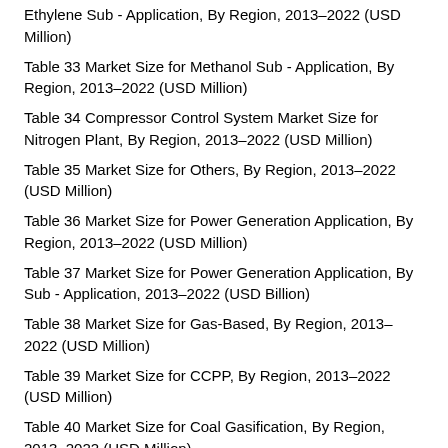Ethylene Sub - Application, By Region, 2013–2022 (USD Million)
Table 33 Market Size for Methanol Sub - Application, By Region, 2013–2022 (USD Million)
Table 34 Compressor Control System Market Size for Nitrogen Plant, By Region, 2013–2022 (USD Million)
Table 35 Market Size for Others, By Region, 2013–2022 (USD Million)
Table 36 Market Size for Power Generation Application, By Region, 2013–2022 (USD Million)
Table 37 Market Size for Power Generation Application, By Sub - Application, 2013–2022 (USD Billion)
Table 38 Market Size for Gas-Based, By Region, 2013–2022 (USD Million)
Table 39 Market Size for CCPP, By Region, 2013–2022 (USD Million)
Table 40 Market Size for Coal Gasification, By Region, 2013–2022 (USD Million)
Table 41 Market Size for Biofuels, By Region, 2013–2022 (USD Million)